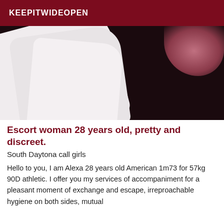KEEPITWIDEOPEN
[Figure (photo): Close-up photo of white fabric/sheets with dark background and pink/mauve tones in upper right corner]
Escort woman 28 years old, pretty and discreet.
South Daytona call girls
Hello to you, I am Alexa 28 years old American 1m73 for 57kg 90D athletic. I offer you my services of accompaniment for a pleasant moment of exchange and escape, irreproachable hygiene on both sides, mutual